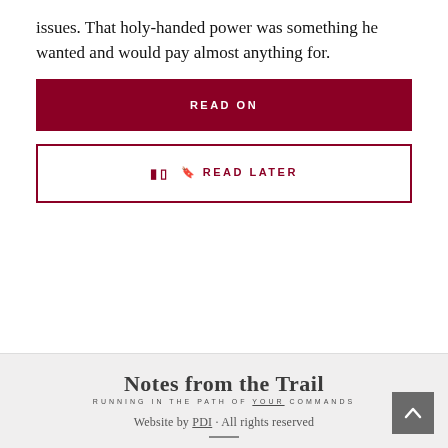issues. That holy-handed power was something he wanted and would pay almost anything for.
[Figure (other): Dark red button labeled READ ON]
[Figure (other): White button with dark red border labeled READ LATER with bookmark icon]
[Figure (logo): Notes from the Trail logo — Running in the path of your commands]
Website by PDI · All rights reserved